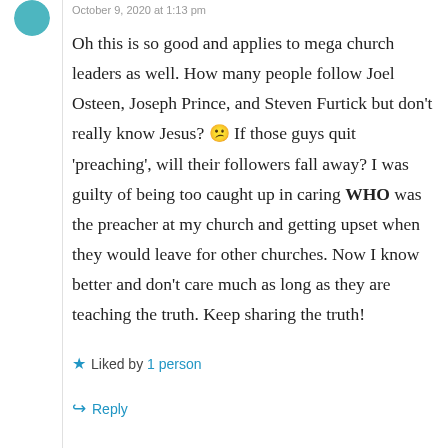October 9, 2020 at 1:13 pm
Oh this is so good and applies to mega church leaders as well. How many people follow Joel Osteen, Joseph Prince, and Steven Furtick but don't really know Jesus? 😕 If those guys quit 'preaching', will their followers fall away? I was guilty of being too caught up in caring WHO was the preacher at my church and getting upset when they would leave for other churches. Now I know better and don't care much as long as they are teaching the truth. Keep sharing the truth!
Liked by 1 person
Reply